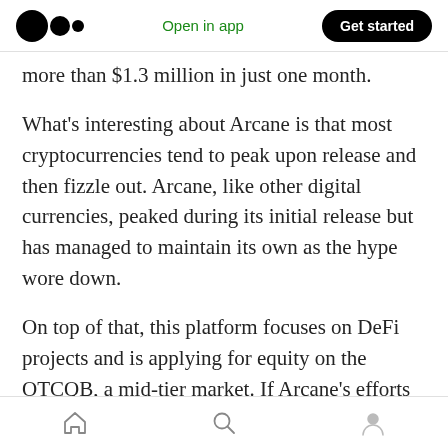Medium logo | Open in app | Get started
more than $1.3 million in just one month.
What’s interesting about Arcane is that most cryptocurrencies tend to peak upon release and then fizzle out. Arcane, like other digital currencies, peaked during its initial release but has managed to maintain its own as the hype wore down.
On top of that, this platform focuses on DeFi projects and is applying for equity on the OTCQB, a mid-tier market. If Arcane’s efforts are successful, it could see huge increases in its value
Home | Search | Profile